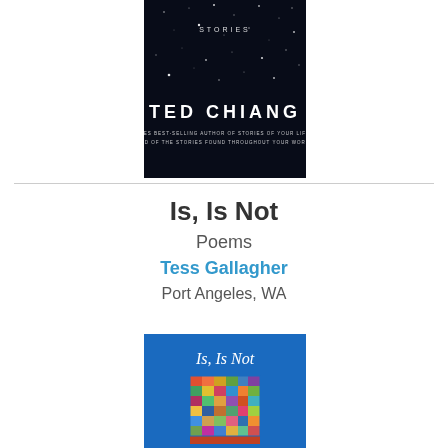[Figure (illustration): Book cover of Ted Chiang stories collection — dark navy/black background with scattered white dots resembling stars, text 'STORIES' at top center, 'TED CHIANG' in large white letters in lower portion, subtitle text below author name]
Is, Is Not
Poems
Tess Gallagher
Port Angeles, WA
[Figure (illustration): Book cover of 'Is, Is Not' — bright blue background with white title text 'Is, Is Not' at top and colorful abstract/mosaic artwork image below]